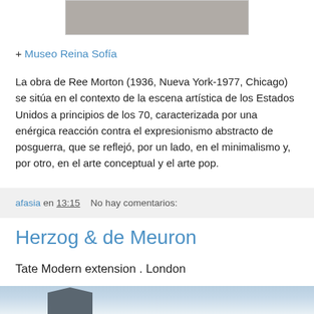[Figure (photo): Partial view of a photograph (cropped at top), showing a grey/brown textured surface, framed with a light border.]
+ Museo Reina Sofía
La obra de Ree Morton (1936, Nueva York-1977, Chicago) se sitúa en el contexto de la escena artística de los Estados Unidos a principios de los 70, caracterizada por una enérgica reacción contra el expresionismo abstracto de posguerra, que se reflejó, por un lado, en el minimalismo y, por otro, en el arte conceptual y el arte pop.
afasia en 13:15    No hay comentarios:
Herzog & de Meuron
Tate Modern extension . London
[Figure (photo): Bottom portion of a photograph showing a building structure with geometric lines against a blue sky with clouds.]